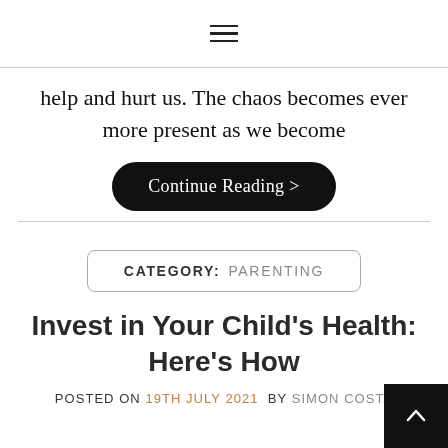≡
help and hurt us. The chaos becomes ever more present as we become
Continue Reading >
CATEGORY: PARENTING
Invest in Your Child's Health: Here's How
POSTED ON 19TH JULY 2021 BY SIMON COSTA